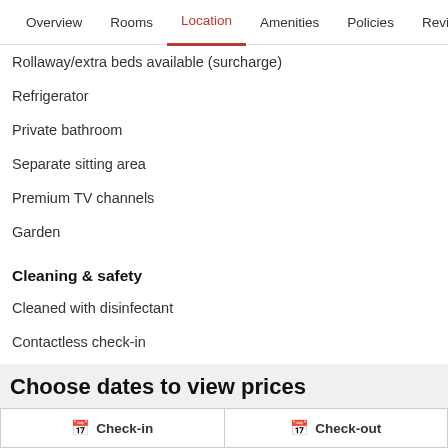Overview  Rooms  Location  Amenities  Policies  Reviews
Rollaway/extra beds available (surcharge)
Refrigerator
Private bathroom
Separate sitting area
Premium TV channels
Garden
Cleaning & safety
Cleaned with disinfectant
Contactless check-in
24-hour vacancy between guest room stays
Hand sanitiser provided
Choose dates to view prices
Check-in
Check-out